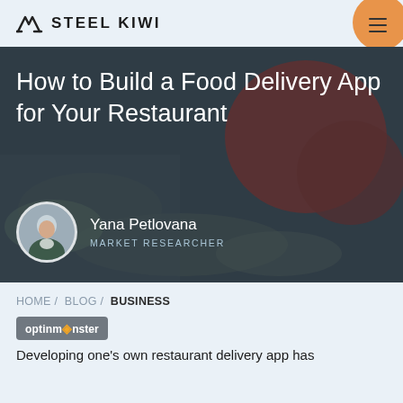STEEL KIWI
[Figure (photo): Hero image of food items (vegetables, tomatoes) with dark overlay. Shows article title 'How to Build a Food Delivery App for Your Restaurant' and author Yana Petlovana, Market Researcher with circular avatar photo.]
How to Build a Food Delivery App for Your Restaurant
Yana Petlovana
MARKET RESEARCHER
HOME / BLOG / BUSINESS
[Figure (logo): OptinMonster logo badge in grey rounded rectangle]
Developing one's own restaurant delivery app has